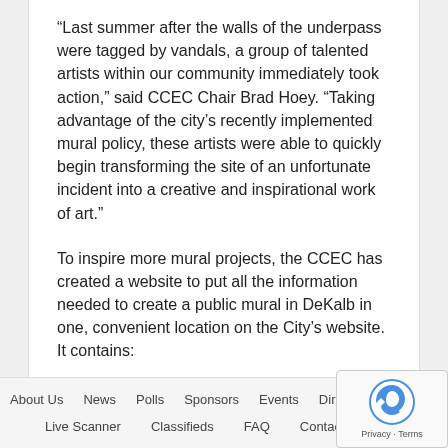“Last summer after the walls of the underpass were tagged by vandals, a group of talented artists within our community immediately took action,” said CCEC Chair Brad Hoey. “Taking advantage of the city’s recently implemented mural policy, these artists were able to quickly begin transforming the site of an unfortunate incident into a creative and inspirational work of art.”
To inspire more mural projects, the CCEC has created a website to put all the information needed to create a public mural in DeKalb in one, convenient location on the City’s website. It contains:
About Us   News   Polls   Sponsors   Events   Dire...   Live Scanner   Classifieds   FAQ   Contact   Privacy · Terms